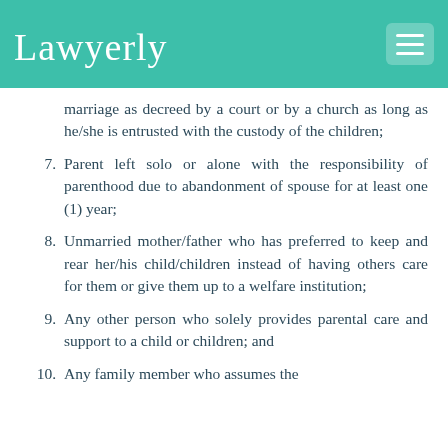Lawyerly
marriage as decreed by a court or by a church as long as he/she is entrusted with the custody of the children;
7. Parent left solo or alone with the responsibility of parenthood due to abandonment of spouse for at least one (1) year;
8. Unmarried mother/father who has preferred to keep and rear her/his child/children instead of having others care for them or give them up to a welfare institution;
9. Any other person who solely provides parental care and support to a child or children; and
10. Any family member who assumes the